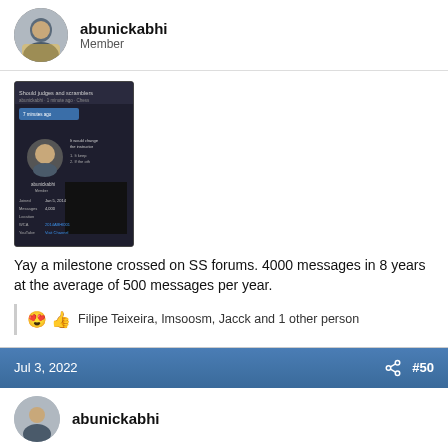abunickabhi
Member
[Figure (screenshot): Screenshot of a forum post titled 'Should judges and scramblers...' showing a dark-themed user profile card for abunickabhi]
Yay a milestone crossed on SS forums. 4000 messages in 8 years at the average of 500 messages per year.
Filipe Teixeira, Imsoosm, Jacck and 1 other person
Jul 3, 2022
#50
abunickabhi